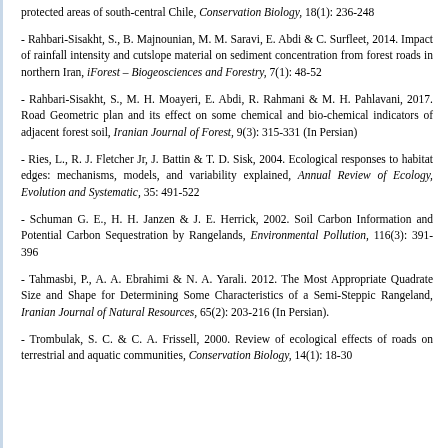protected areas of south-central Chile, Conservation Biology, 18(1): 236-248
Rahbari-Sisakht, S., B. Majnounian, M. M. Saravi, E. Abdi & C. Surfleet, 2014. Impact of rainfall intensity and cutslope material on sediment concentration from forest roads in northern Iran, iForest – Biogeosciences and Forestry, 7(1): 48-52
Rahbari-Sisakht, S., M. H. Moayeri, E. Abdi, R. Rahmani & M. H. Pahlavani, 2017. Road Geometric plan and its effect on some chemical and bio-chemical indicators of adjacent forest soil, Iranian Journal of Forest, 9(3): 315-331 (In Persian)
Ries, L., R. J. Fletcher Jr, J. Battin & T. D. Sisk, 2004. Ecological responses to habitat edges: mechanisms, models, and variability explained, Annual Review of Ecology, Evolution and Systematic, 35: 491-522
Schuman G. E., H. H. Janzen & J. E. Herrick, 2002. Soil Carbon Information and Potential Carbon Sequestration by Rangelands, Environmental Pollution, 116(3): 391-396
Tahmasbi, P., A. A. Ebrahimi & N. A. Yarali. 2012. The Most Appropriate Quadrate Size and Shape for Determining Some Characteristics of a Semi-Steppic Rangeland, Iranian Journal of Natural Resources, 65(2): 203-216 (In Persian).
Trombulak, S. C. & C. A. Frissell, 2000. Review of ecological effects of roads on terrestrial and aquatic communities, Conservation Biology, 14(1): 18-30